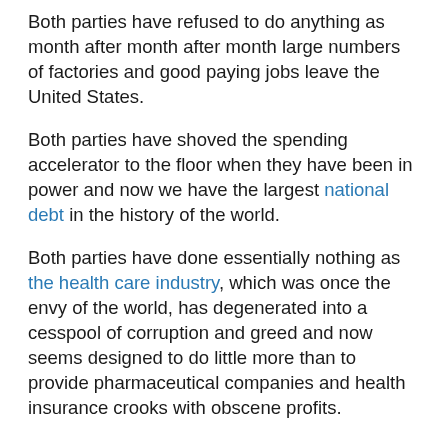Both parties have refused to do anything as month after month after month large numbers of factories and good paying jobs leave the United States.
Both parties have shoved the spending accelerator to the floor when they have been in power and now we have the largest national debt in the history of the world.
Both parties have done essentially nothing as the health care industry, which was once the envy of the world, has degenerated into a cesspool of corruption and greed and now seems designed to do little more than to provide pharmaceutical companies and health insurance crooks with obscene profits.